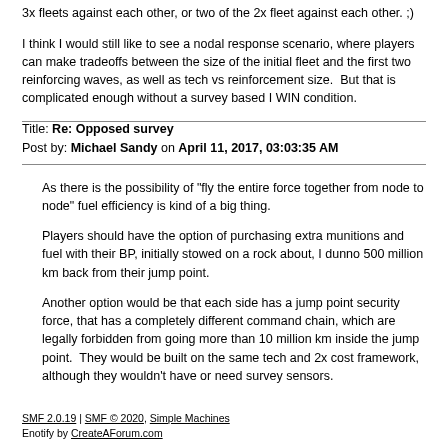3x fleets against each other, or two of the 2x fleet against each other. ;)

I think I would still like to see a nodal response scenario, where players can make tradeoffs between the size of the initial fleet and the first two reinforcing waves, as well as tech vs reinforcement size.  But that is complicated enough without a survey based I WIN condition.
Title: Re: Opposed survey
Post by: Michael Sandy on April 11, 2017, 03:03:35 AM
As there is the possibility of "fly the entire force together from node to node" fuel efficiency is kind of a big thing.

Players should have the option of purchasing extra munitions and fuel with their BP, initially stowed on a rock about, I dunno 500 million km back from their jump point.

Another option would be that each side has a jump point security force, that has a completely different command chain, which are legally forbidden from going more than 10 million km inside the jump point.  They would be built on the same tech and 2x cost framework, although they wouldn't have or need survey sensors.
SMF 2.0.19 | SMF © 2020, Simple Machines
Enotify by CreateAForum.com